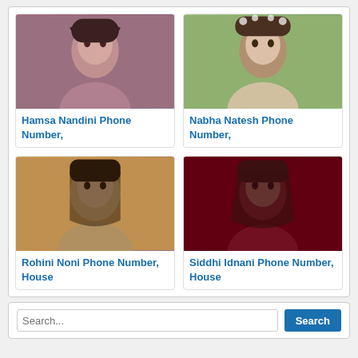[Figure (photo): Photo of Hamsa Nandini, Indian actress, close-up portrait with dark hair]
Hamsa Nandini Phone Number,
[Figure (photo): Photo of Nabha Natesh, Indian actress with flower crown and long wavy hair]
Nabha Natesh Phone Number,
[Figure (photo): Photo of Rohini Noni, Indian actress smiling with gold jewelry]
Rohini Noni Phone Number, House
[Figure (photo): Photo of Siddhi Idnani, Indian actress with red-toned dramatic lighting]
Siddhi Idnani Phone Number, House